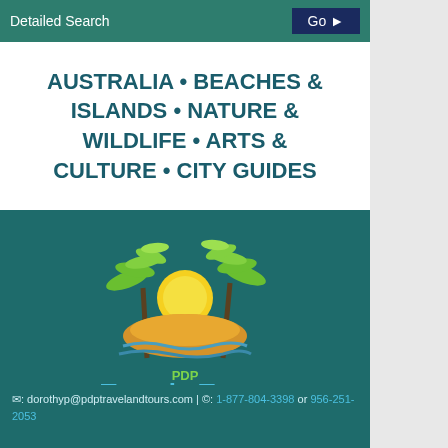Detailed Search   Go ▶
AUSTRALIA • BEACHES & ISLANDS • NATURE & WILDLIFE • ARTS & CULTURE • CITY GUIDES
[Figure (logo): PDP Travel & Tours logo with palm trees, sun rising over sandy island with blue waves, and text 'PDP Travel & Tours FOR ALL YOUR TRAVEL NEEDS']
✉: dorothyp@pdptravelandtours.com | ©: 1-877-804-3398 or 956-251-2053